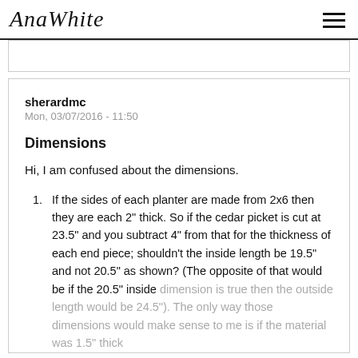AnaWhite
sherardmc
Mon, 03/07/2016 - 11:50
Dimensions
Hi, I am confused about the dimensions.
If the sides of each planter are made from 2x6 then they are each 2" thick.  So if the cedar picket is cut at 23.5" and you subtract 4" from that for the thickness of each end piece; shouldn't the inside length be 19.5" and not 20.5" as shown? (The opposite of that would be if the 20.5" inside dimension is true then the outside length would be 24.5").  The only way those dimensions would make sense to me is if the material was 1.5" thick